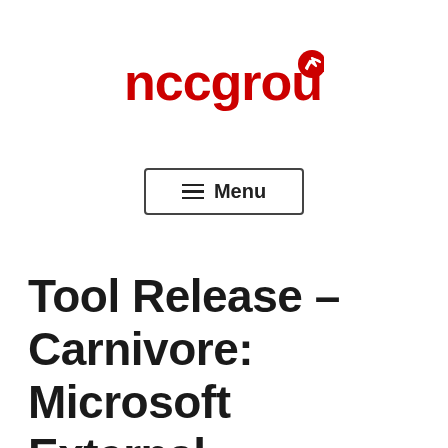[Figure (logo): NCC Group logo in red with stylized arrow icon]
☰ Menu
Tool Release – Carnivore: Microsoft External Assessment Tool